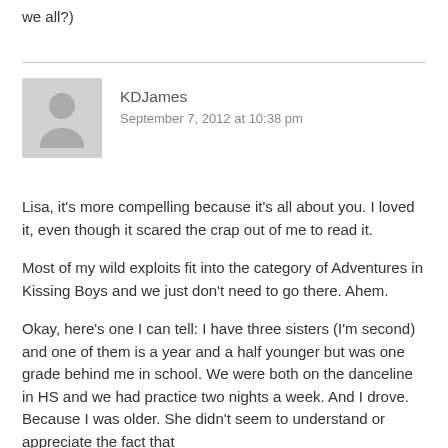we all?)
KDJames
September 7, 2012 at 10:38 pm
Lisa, it's more compelling because it's all about you. I loved it, even though it scared the crap out of me to read it.
Most of my wild exploits fit into the category of Adventures in Kissing Boys and we just don't need to go there. Ahem.
Okay, here's one I can tell: I have three sisters (I'm second) and one of them is a year and a half younger but was one grade behind me in school. We were both on the danceline in HS and we had practice two nights a week. And I drove. Because I was older. She didn't seem to understand or appreciate the fact that